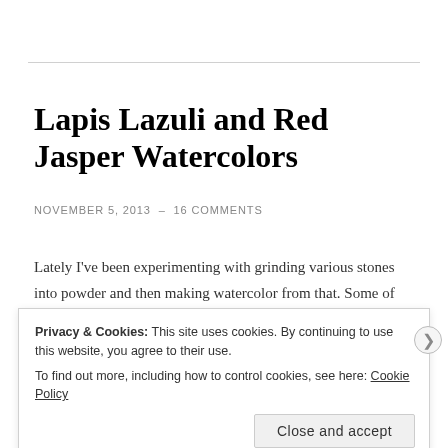Lapis Lazuli and Red Jasper Watercolors
NOVEMBER 5, 2013 — 16 COMMENTS
Lately I've been experimenting with grinding various stones into powder and then making watercolor from that. Some of the stones I found myself but here's two that I bought.
Privacy & Cookies: This site uses cookies. By continuing to use this website, you agree to their use.
To find out more, including how to control cookies, see here: Cookie Policy
Close and accept